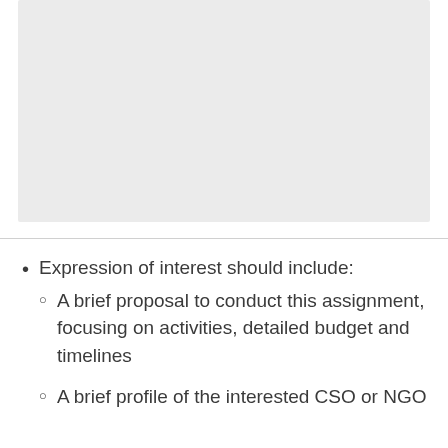[Figure (other): Gray placeholder box representing an image or figure area]
Expression of interest should include:
A brief proposal to conduct this assignment, focusing on activities, detailed budget and timelines
A brief profile of the interested CSO or NGO